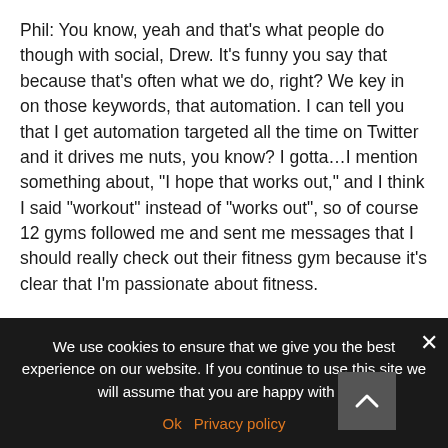Phil: You know, yeah and that's what people do though with social, Drew. It's funny you say that because that's often what we do, right? We key in on those keywords, that automation. I can tell you that I get automation targeted all the time on Twitter and it drives me nuts, you know? I gotta…I mention something about, "I hope that works out," and I think I said "workout" instead of "works out", so of course 12 gyms followed me and sent me messages that I should really check out their fitness gym because it's clear that I'm passionate about fitness.
Drew: Ha, okay.
Phil: Hm, no, not so much, right? I hope that works out? Hm, no. So if a human being had read that, they would see that I was not talking about working out, but
We use cookies to ensure that we give you the best experience on our website. If you continue to use this site we will assume that you are happy with it.
Ok   Privacy policy